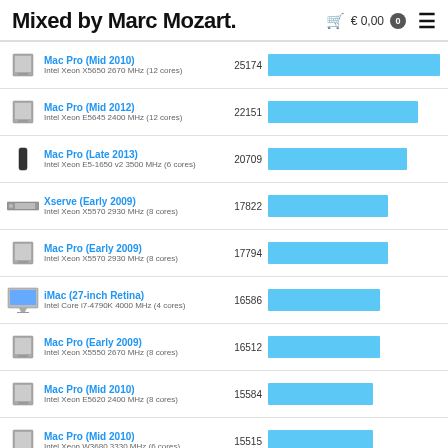Mixed by Marc Mozart.   € 0,00  0  ≡
[Figure (bar-chart): Mac benchmark scores]